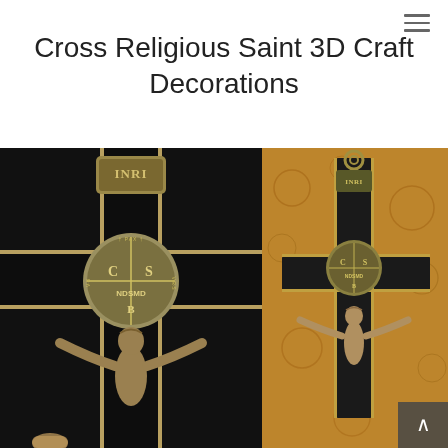Cross Religious Saint 3D Craft Decorations
[Figure (photo): Two Saint Benedict crucifixes. Left: large close-up of a black enamel cross with ornate gold/silver INRI plaque at top and a detailed Saint Benedict medal at center showing CS/NDSMD markings, with a corpus (figure of Christ) below. Right: smaller full view of the same style crucifix mounted on an ornate golden/amber decorative background, showing INRI plaque, Saint Benedict medal, and full corpus.]